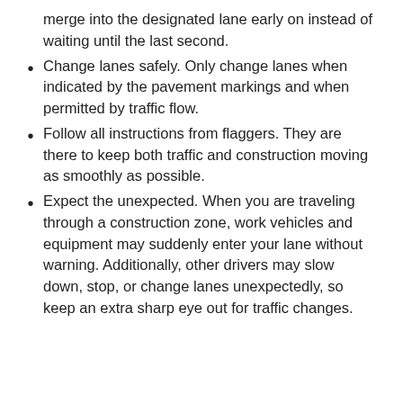merge into the designated lane early on instead of waiting until the last second.
Change lanes safely. Only change lanes when indicated by the pavement markings and when permitted by traffic flow.
Follow all instructions from flaggers. They are there to keep both traffic and construction moving as smoothly as possible.
Expect the unexpected. When you are traveling through a construction zone, work vehicles and equipment may suddenly enter your lane without warning. Additionally, other drivers may slow down, stop, or change lanes unexpectedly, so keep an extra sharp eye out for traffic changes.